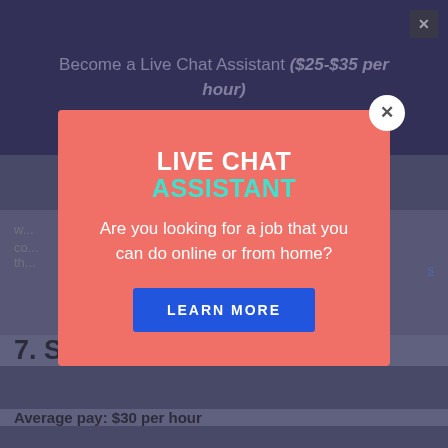Become a Live Chat Assistant ($25-$35 per hour)
w... co... th...
s
7. Send out TikTok DM's
Average pay: $30 per hour
[Figure (screenshot): Popup/modal overlay on a webpage. The modal has a salmon/coral pink background and contains the title 'LIVE CHAT ASSISTANT' (with 'LIVE CHAT' in white bold and 'ASSISTANT' in cyan/teal), body text 'Are you looking for a job that you can do online or from home?', and a blue 'LEARN MORE' button. A white circular close button with an X is at the top right of the modal. The background page shows a dark navy top banner reading 'Become a Live Chat Assistant ($25-$35 per hour)', and a partial view of an article with heading '7. Send out TikTok DM's' and text 'Average pay: $30 per hour'.]